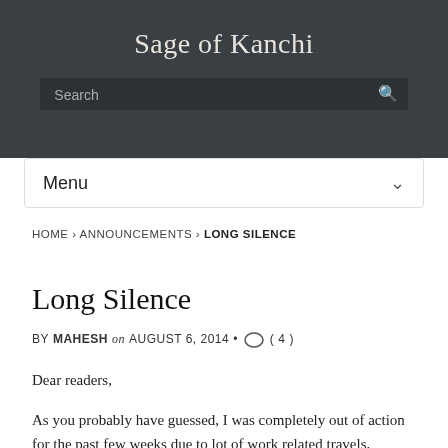Sage of Kanchi
Search
Menu
HOME › ANNOUNCEMENTS › LONG SILENCE
Long Silence
BY MAHESH on AUGUST 6, 2014 • ( 4 )
Dear readers,
As you probably have guessed, I was completely out of action for the past few weeks due to lot of work related travels, meetings etc...Now, at least